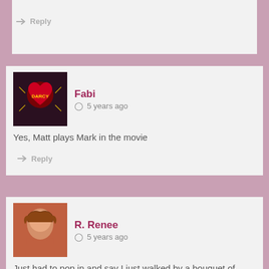Reply
[Figure (photo): Avatar image for Fabi: stylized tattoo heart design with rays and banner]
Fabi  5 years ago
Yes, Matt plays Mark in the movie
Reply
[Figure (photo): Avatar image for R. Renee: photo of a woman with reddish-brown hair]
R. Renee  5 years ago
Just had to pop in and say I just walked by a bouquet of yellow balloons. Anyone get me? I gasped. Ok back to my beer…
Reply